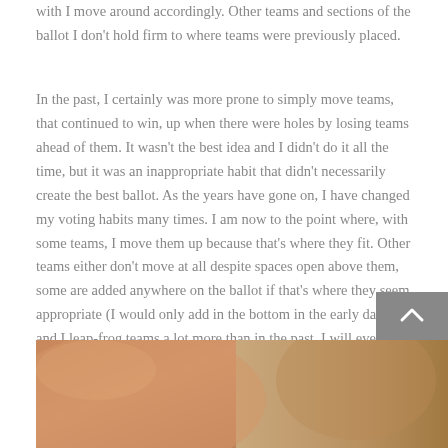with I move around accordingly. Other teams and sections of the ballot I don't hold firm to where teams were previously placed.
In the past, I certainly was more prone to simply move teams, that continued to win, up when there were holes by losing teams ahead of them. It wasn't the best idea and I didn't do it all the time, but it was an inappropriate habit that didn't necessarily create the best ballot. As the years have gone on, I have changed my voting habits many times. I am now to the point where, with some teams, I move them up because that's where they fit. Other teams either don't move at all despite spaces open above them, some are added anywhere on the ballot if that's where they seem appropriate (I would only add in the bottom in the early days), and I leap-frog teams a lot more than in the past. I will even move teams down despite the fact they are winning.
[Figure (photo): Partial photo of a person's face, cropped at the bottom of the page]